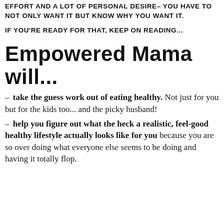EFFORT AND A LOT OF PERSONAL DESIRE– YOU HAVE TO NOT ONLY WANT IT BUT KNOW WHY YOU WANT IT.
IF YOU'RE READY FOR THAT, KEEP ON READING...
Empowered Mama will...
– take the guess work out of eating healthy. Not just for you but for the kids too... and the picky husband!
– help you figure out what the heck a realistic, feel-good healthy lifestyle actually looks like for you because you are so over doing what everyone else seems to be doing and having it totally flop.